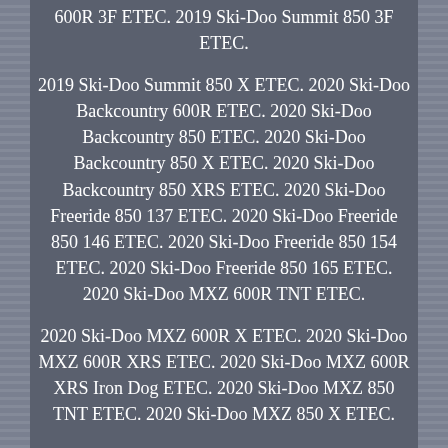600R 3F ETEC. 2019 Ski-Doo Summit 850 3F ETEC.
2019 Ski-Doo Summit 850 X ETEC. 2020 Ski-Doo Backcountry 600R ETEC. 2020 Ski-Doo Backcountry 850 ETEC. 2020 Ski-Doo Backcountry 850 X ETEC. 2020 Ski-Doo Backcountry 850 XRS ETEC. 2020 Ski-Doo Freeride 850 137 ETEC. 2020 Ski-Doo Freeride 850 146 ETEC. 2020 Ski-Doo Freeride 850 154 ETEC. 2020 Ski-Doo Freeride 850 165 ETEC. 2020 Ski-Doo MXZ 600R TNT ETEC.
2020 Ski-Doo MXZ 600R X ETEC. 2020 Ski-Doo MXZ 600R XRS ETEC. 2020 Ski-Doo MXZ 600R XRS Iron Dog ETEC. 2020 Ski-Doo MXZ 850 TNT ETEC. 2020 Ski-Doo MXZ 850 X ETEC.
2020 Ski-Doo MXZ 850 XRS ETEC. 2020 Ski-Doo Renegade 600R Adrenaline ETEC. 2020 Ski-Doo Renegade 600R Enduro ETEC.
2020 Ski-Doo Renegade 600R X ETEC. 2020 Ski-Doo Renegade 850 Adrenaline ETEC. 2020 Ski-